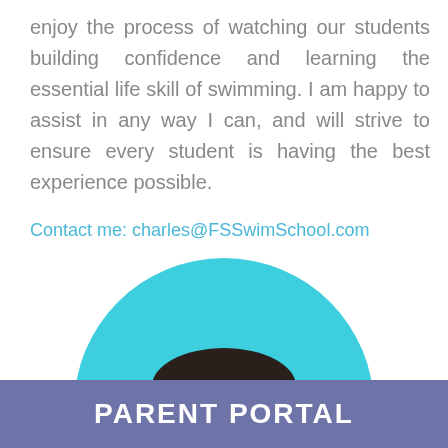enjoy the process of watching our students building confidence and learning the essential life skill of swimming. I am happy to assist in any way I can, and will strive to ensure every student is having the best experience possible.
Contact me: charles@FSSwimSchool.com
[Figure (photo): Headshot of a middle-aged man with dark hair and a goatee, wearing a blue polo shirt, set against a cyan/turquoise circular background.]
PARENT PORTAL